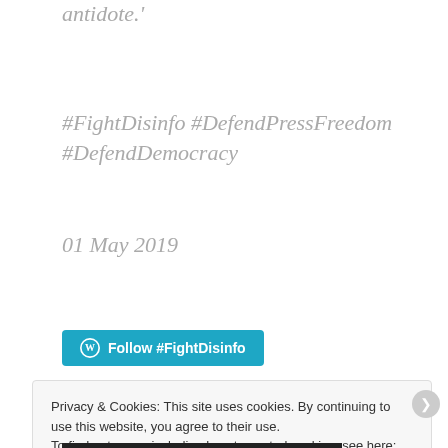antidote.'
#FightDisinfo #DefendPressFreedom #DefendDemocracy
01 May 2019
[Figure (other): Blue WordPress Follow button with label 'Follow #FightDisinfo']
Privacy & Cookies: This site uses cookies. By continuing to use this website, you agree to their use.
To find out more, including how to control cookies, see here: Cookie Policy
Close and accept